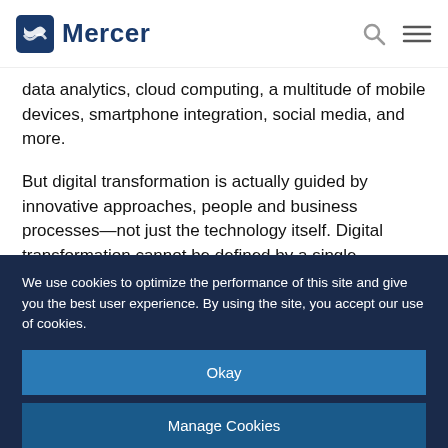Mercer
data analytics, cloud computing, a multitude of mobile devices, smartphone integration, social media, and more.
But digital transformation is actually guided by innovative approaches, people and business processes—not just the technology itself. Digital transformation cannot be defined by a single transformation project nor a single technology. The technology is constantly changing and updating itself. The only fixed element of digital transformation is the innovative mindset that drives it.
We use cookies to optimize the performance of this site and give you the best user experience. By using the site, you accept our use of cookies.
Okay
Manage Cookies